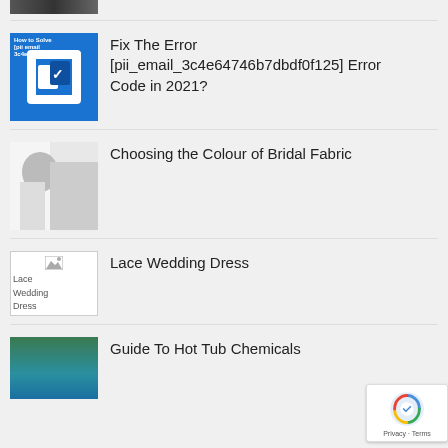[Figure (photo): Partial food/scene thumbnail at top]
[Figure (photo): Microsoft Outlook logo thumbnail on blue background]
Fix The Error [pii_email_3c4e64746b7dbdf0f125] Error Code in 2021?
[Figure (photo): Woman looking at bridal fabric/dresses]
Choosing the Colour of Bridal Fabric
[Figure (photo): Lace Wedding Dress broken image placeholder]
Lace Wedding Dress
[Figure (photo): Hot tub scene with water and greenery]
Guide To Hot Tub Chemicals